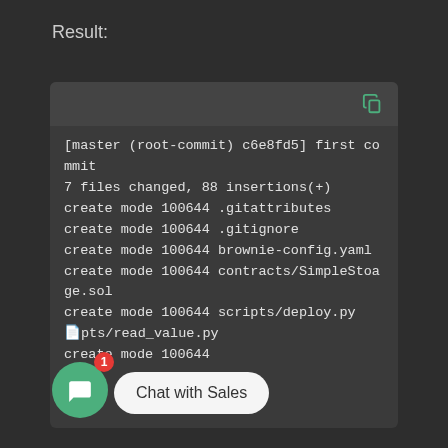Result:
[Figure (screenshot): Dark terminal/code block showing git commit output with copy icon in top-right corner]
[master (root-commit) c6e8fd5] first commit
7 files changed, 88 insertions(+)
create mode 100644 .gitattributes
create mode 100644 .gitignore
create mode 100644 brownie-config.yaml
create mode 100644 contracts/SimpleStoage.sol
create mode 100644 scripts/deploy.py
scripts/read_value.py
create mode 100644